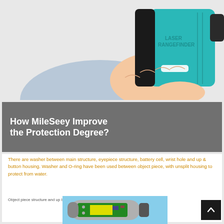[Figure (photo): A hand holding a teal/blue-green laser rangefinder device labeled 'LASER RANGEFINDER'. The device is compact and rectangular.]
How MileSeey Improve the Protection Degree?
There are washer between main structure, eyepiece structure, battery cell, wrist hole and up & button housing. Washer and O-ring have been used between object piece, with unsplit housing to protect from water.
Object piece structure and up bottom case
[Figure (photo): An exploded or cutaway view of a laser rangefinder showing internal components including green circuit board and yellow battery.]